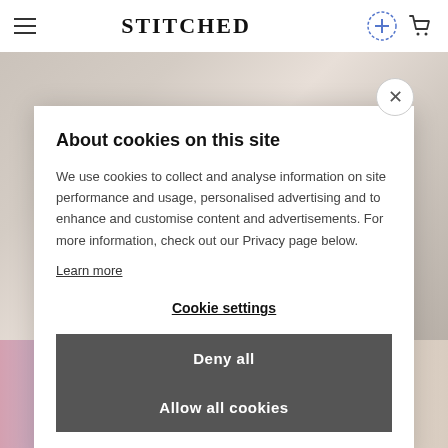STITCHED
[Figure (screenshot): Cookie consent modal overlay on the Stitched website. Background shows fabric product images. Modal contains title, body text, links, and two buttons.]
About cookies on this site
We use cookies to collect and analyse information on site performance and usage, personalised advertising and to enhance and customise content and advertisements. For more information, check out our Privacy page below.
Learn more
Cookie settings
Deny all
Allow all cookies